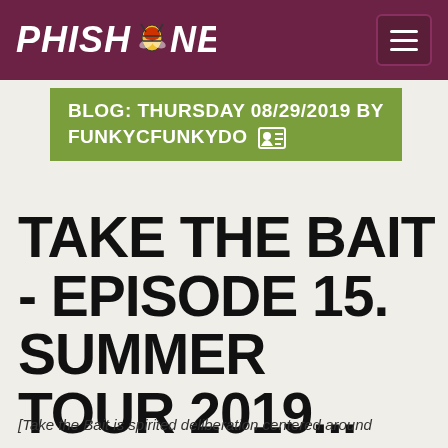PHISH.NET
BLOG: THURSDAY 08/29/2019 BY FUNKYCFUNKYDO
TAKE THE BAIT - EPISODE 15. SUMMER TOUR 2019... EXCEPT ALPINE 3
[Take the Bait is spirited deliberation centered around